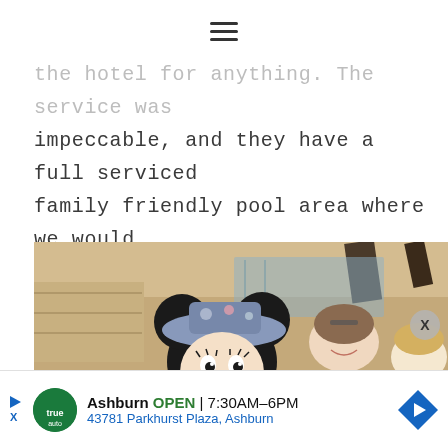≡
the hotel for anything. The service was impeccable, and they have a full serviced family friendly pool area where we would retreat to when the park became too hot.
[Figure (photo): Photo of a person dressed as Minnie Mouse character with a blue floral hat, posing with a smiling woman and a young blonde child in what appears to be an indoor venue with wooden beams and glass walls.]
Ashburn OPEN | 7:30AM–6PM
43781 Parkhurst Plaza, Ashburn